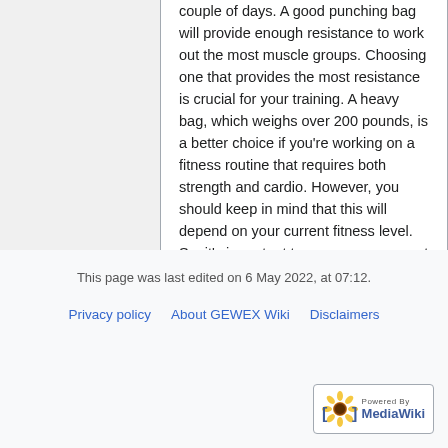couple of days. A good punching bag will provide enough resistance to work out the most muscle groups. Choosing one that provides the most resistance is crucial for your training. A heavy bag, which weighs over 200 pounds, is a better choice if you're working on a fitness routine that requires both strength and cardio. However, you should keep in mind that this will depend on your current fitness level. So, it's important to gauge your current skills and fitness level before purchasing a punching bag.
This page was last edited on 6 May 2022, at 07:12.
Privacy policy   About GEWEX Wiki   Disclaimers